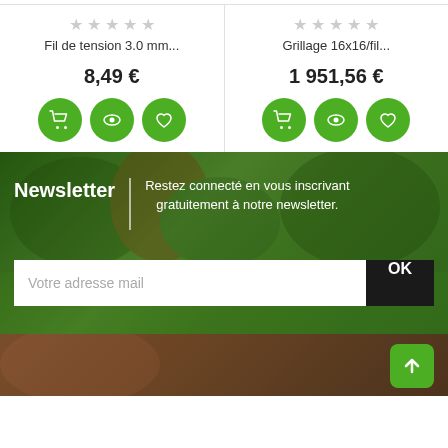[Figure (screenshot): Product card left: star rating (grey), product name 'Fil de tension 3.0 mm...', price 8,49 €, three green action buttons (cart, eye, heart)]
[Figure (screenshot): Product card right: star rating (grey), product name 'Grillage 16x16/fil...', price 1 951,56 €, three green action buttons (cart, eye, heart)]
Newsletter
Restez connecté en vous inscrivant gratuitement à notre newsletter.
Votre adresse mail
OK